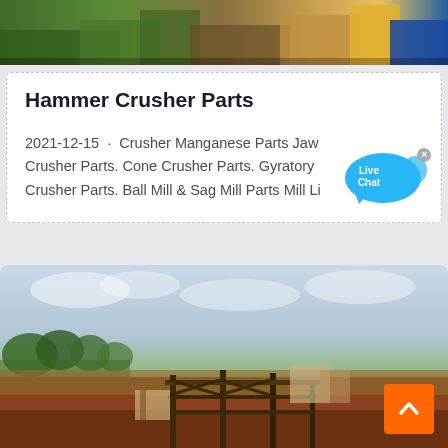[Figure (photo): Top strip showing a colorful outdoor scene with green and orange elements, partial view of a market or construction area]
Hammer Crusher Parts
2021-12-15 · Crusher Manganese Parts Jaw Crusher Parts. Cone Crusher Parts. Gyratory Crusher Parts. Ball Mill & Sag Mill Parts Mill Li
[Figure (photo): Outdoor photo showing a mining or industrial site with a wooden/metal scaffold structure on red earth, trees and sky in the background]